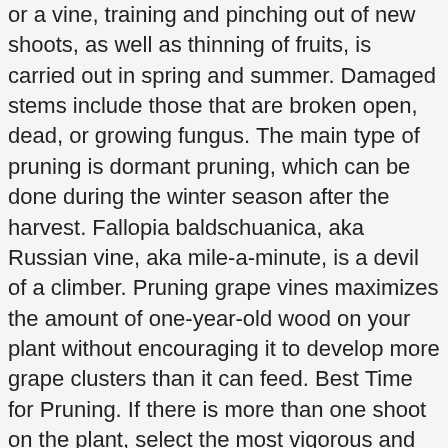or a vine, training and pinching out of new shoots, as well as thinning of fruits, is carried out in spring and summer. Damaged stems include those that are broken open, dead, or growing fungus. The main type of pruning is dormant pruning, which can be done during the winter season after the harvest. Fallopia baldschuanica, aka Russian vine, aka mile-a-minute, is a devil of a climber. Pruning grape vines maximizes the amount of one-year-old wood on your plant without encouraging it to develop more grape clusters than it can feed. Best Time for Pruning. If there is more than one shoot on the plant, select the most vigorous and cut the others back flush to the main trunk. In order to determine the health of a vine, we look at the dormant vine. Not to be outdone by its flowers, the plant's stems and foliage make a strong statement of their own, perhaps even outstrippià¦ How to Prune Honeysuckle Step 1 â Remove Dying Vines. The purpose of pruning is simple: to control and direct a vineâs growth for the upcoming season. Its long blooming period is valued by those who seek a flower bed that remains in bloom throughout the growing season. Infection from wound damage